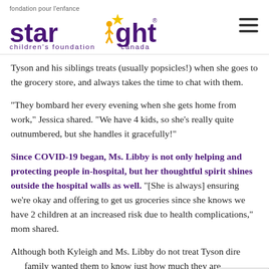fondation pour l'enfance starlight children's foundation canada
Tyson and his siblings treats (usually popsicles!) when she goes to the grocery store, and always takes the time to chat with them.
“They bombard her every evening when she gets home from work,” Jessica shared. “We have 4 kids, so she’s really quite outnumbered, but she handles it gracefully!”
Since COVID-19 began, Ms. Libby is not only helping and protecting people in-hospital, but her thoughtful spirit shines outside the hospital walls as well. “[She is always] ensuring we’re okay and offering to get us groceries since she knows we have 2 children at an increased risk due to health complications,” mom shared.
Although both Kyleigh and Ms. Libby do not treat Tyson dire… family wanted them to know just how much they are apprec… all that they do, for both their family and others like them. When…